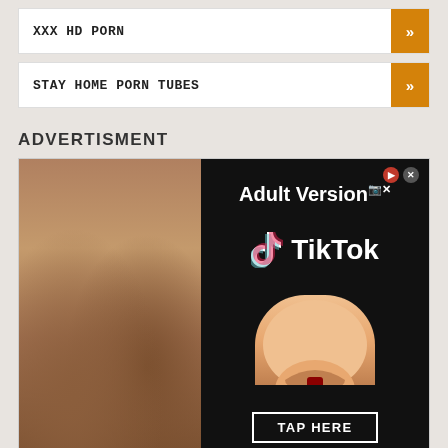XXX HD PORN
STAY HOME PORN TUBES
ADVERTISMENT
[Figure (illustration): Advertisement banner with two panels: left panel shows photo of two women with tattoos, right panel shows Adult Version TikTok ad with 'TAP HERE' button on black background]